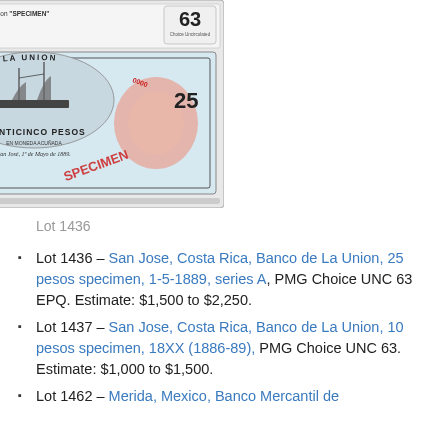[Figure (photo): PMG graded banknote slab showing Costa Rica, Banco de la Union SPECIMEN, Pick# S225s, 1886-89, 25 Pesos, S/N A 0000, Printer: ABNC, graded 63 Choice Uncirculated EPQ. The note features 'EL BANCO DE LA UNION' and 'VEINTICINCO PESOS' text, with decorative rosette patterns and a ship vignette.]
Lot 1436
Lot 1436 – San Jose, Costa Rica, Banco de La Union, 25 pesos specimen, 1-5-1889, series A, PMG Choice UNC 63 EPQ. Estimate: $1,500 to $2,250.
Lot 1437 – San Jose, Costa Rica, Banco de La Union, 10 pesos specimen, 18XX (1886-89), PMG Choice UNC 63. Estimate: $1,000 to $1,500.
Lot 1462 – Merida, Mexico, Banco Mercantil de...